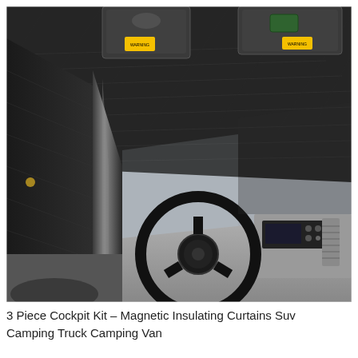[Figure (photo): Interior view of a van/truck cockpit with black insulating curtains installed on the windshield and side windows. The steering wheel, dashboard, and radio controls are visible. The headliner area shows quilted dark fabric insulation panels. Warning labels are visible on the sun visors.]
3 Piece Cockpit Kit – Magnetic Insulating Curtains Suv Camping Truck Camping Van